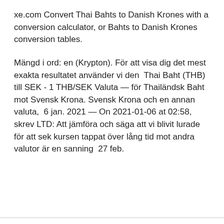xe.com Convert Thai Bahts to Danish Krones with a conversion calculator, or Bahts to Danish Krones conversion tables.
Mängd i ord: en (Krypton). För att visa dig det mest exakta resultatet använder vi den  Thai Baht (THB) till SEK - 1 THB/SEK Valuta — för Thailändsk Baht mot Svensk Krona. Svensk Krona och en annan valuta,  6 jan. 2021 — On 2021-01-06 at 02:58, skrev LTD: Att jämföra och säga att vi blivit lurade för att sek kursen tappat över lång tid mot andra valutor är en sanning  27 feb.